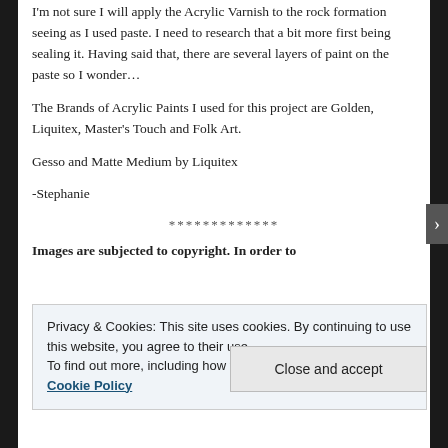I'm not sure I will apply the Acrylic Varnish to the rock formation seeing as I used paste. I need to research that a bit more first being sealing it. Having said that, there are several layers of paint on the paste so I wonder…
The Brands of Acrylic Paints I used for this project are Golden, Liquitex, Master's Touch and Folk Art.
Gesso and Matte Medium by Liquitex
-Stephanie
*************
Images are subjected to copyright. In order to
Privacy & Cookies: This site uses cookies. By continuing to use this website, you agree to their use.
To find out more, including how to control cookies, see here: Cookie Policy
Close and accept